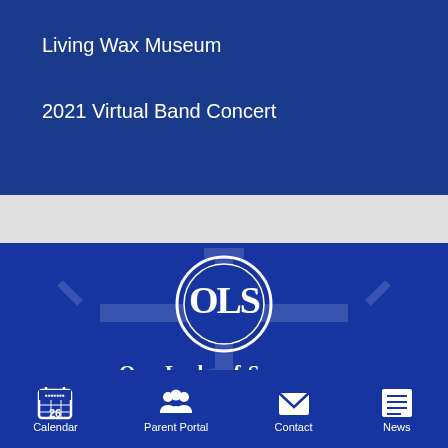Living Wax Museum
2021 Virtual Band Concert
[Figure (logo): Our Lady of Sorrows School circular monogram logo in white on dark blue background, with interlocked letters OLS]
Our Lady of Sorrows School
Calendar  Parent Portal  Contact  News